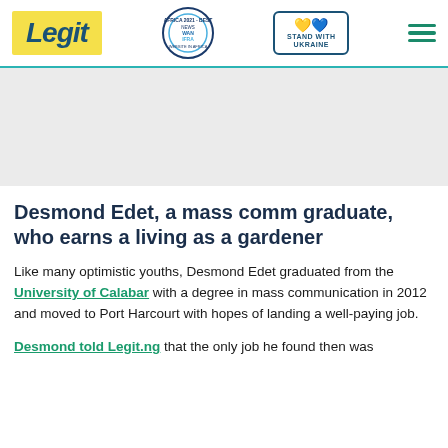Legit | WAN IFRA 2021 Best News Website in Africa | Stand with Ukraine | Menu
[Figure (other): Gray advertisement placeholder banner]
Desmond Edet, a mass comm graduate, who earns a living as a gardener
Like many optimistic youths, Desmond Edet graduated from the University of Calabar with a degree in mass communication in 2012 and moved to Port Harcourt with hopes of landing a well-paying job.
Desmond told Legit.ng that the only job he found then was